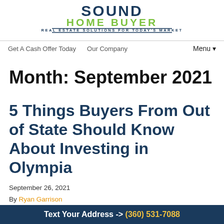[Figure (logo): Sound Home Buyer logo with tagline 'Real Estate Solutions For Today's Market']
Get A Cash Offer Today   Our Company   Menu ▼
Month: September 2021
5 Things Buyers From Out of State Should Know About Investing in Olympia
September 26, 2021
By Ryan Garrison
Text Your Address -> (360) 531-7088